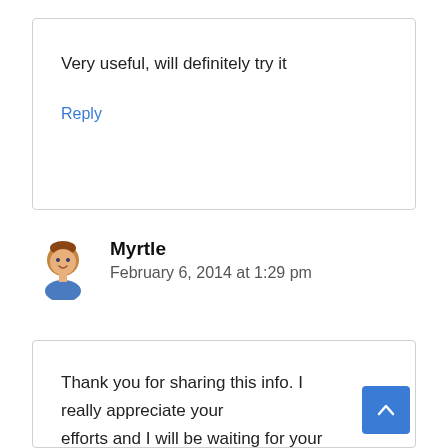Very useful, will definitely try it
Reply
Myrtle
February 6, 2014 at 1:29 pm
Thank you for sharing this info. I really appreciate your efforts and I will be waiting for your